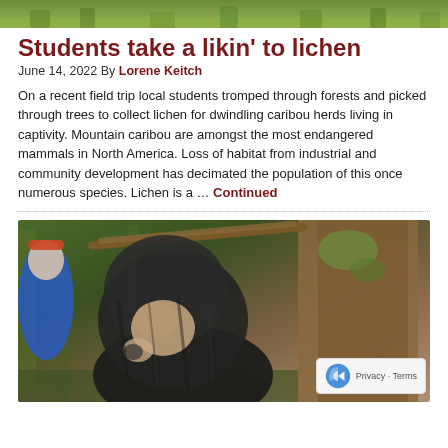[Figure (photo): Top strip photo showing green grass/foliage, partial crop of an outdoor scene]
Students take a likin' to lichen
June 14, 2022 By Lorene Keitch
On a recent field trip local students tromped through forests and picked through trees to collect lichen for dwindling caribou herds living in captivity. Mountain caribou are amongst the most endangered mammals in North America. Loss of habitat from industrial and community development has decimated the population of this once numerous species. Lichen is a … Continued
[Figure (photo): Student in black hooded puffer jacket looking at something in hand (possibly a magnifying glass or sample), examining a forest tree. Another student in blue jacket visible in background. Forest with large trees and lichen-covered bark visible.]